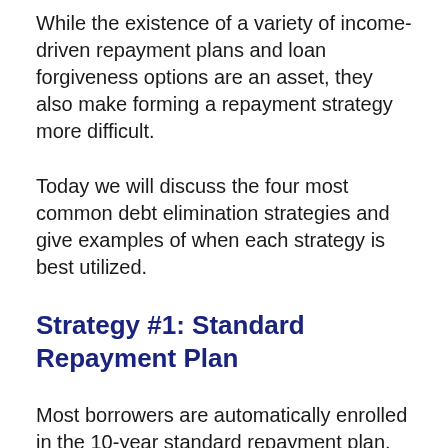While the existence of a variety of income-driven repayment plans and loan forgiveness options are an asset, they also make forming a repayment strategy more difficult.
Today we will discuss the four most common debt elimination strategies and give examples of when each strategy is best utilized.
Strategy #1: Standard Repayment Plan
Most borrowers are automatically enrolled in the 10-year standard repayment plan. Repaying loans according to this strategy will mean 120 equal payments and the entire student loan will be paid off after 10 years.